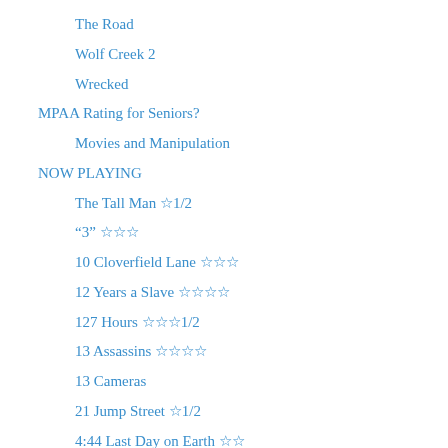The Road
Wolf Creek 2
Wrecked
MPAA Rating for Seniors?
Movies and Manipulation
NOW PLAYING
The Tall Man ☆1/2
“3” ☆☆☆
10 Cloverfield Lane ☆☆☆
12 Years a Slave ☆☆☆☆
127 Hours ☆☆☆1/2
13 Assassins ☆☆☆☆
13 Cameras
21 Jump Street ☆1/2
4:44 Last Day on Earth ☆☆
78/52: Hitch’s Shower Scene
A Hidden Life ☆☆☆1/2
Adjustment Bureau ☆☆1/2
Adrift ☆☆☆
After Earth 1/2